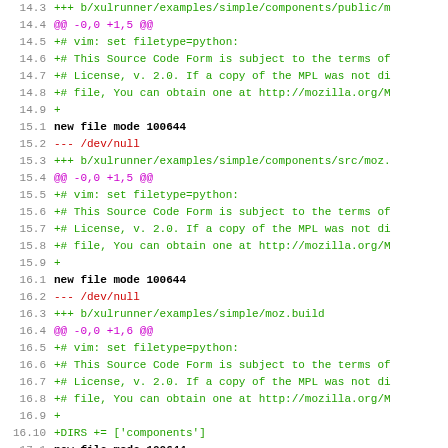[Figure (screenshot): Diff/patch view of source code showing file additions in a version control system. Lines numbered 14.3 through 17.7 showing new file additions to xulrunner examples and installer directories with Mozilla Public License headers.]